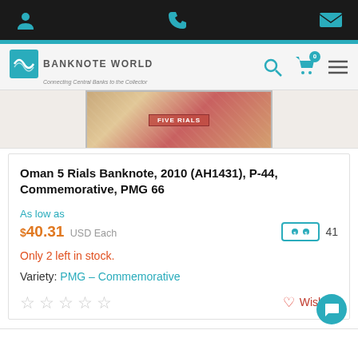Banknote World — Connecting Central Banks to the Collector
[Figure (photo): Partial image of an Oman 5 Rials banknote with red ornamental design]
Oman 5 Rials Banknote, 2010 (AH1431), P-44, Commemorative, PMG 66
As low as
$40.31 USD Each  41
Only 2 left in stock.
Variety: PMG – Commemorative
☆☆☆☆☆  Wishlist